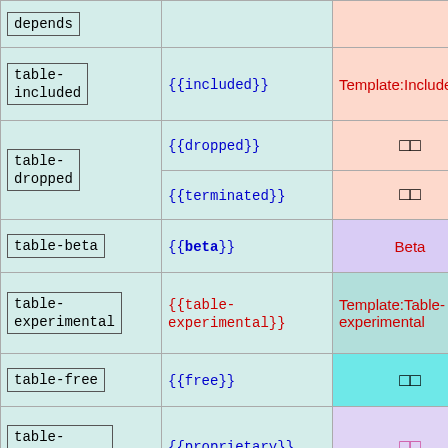| Template name | Usage | Result |
| --- | --- | --- |
| depends |  |  |
| table-included | {{included}} | Template:Included |
| table-dropped | {{dropped}}
{{terminated}} | □□
□□ |
| table-beta | {{beta}} | Beta |
| table-experimental | {{table-experimental}} | Template:Table-experimental |
| table-free | {{free}} | □□ |
| table-proprietary | {{proprietary}} | □□ |
| table-nonfree | {{nonfree}} | □□ |
| table-needs | {{needs}} | □□ |